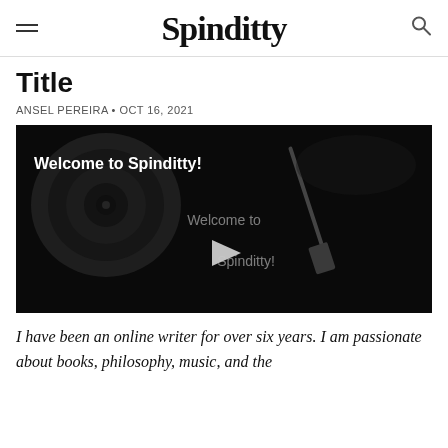Spinditty
Title
ANSEL PEREIRA • OCT 16, 2021
[Figure (screenshot): Video thumbnail showing a vinyl record player / turntable in dark lighting with text 'Welcome to Spinditty!' and a play button overlay reading 'Welcome to Spinditty!']
I have been an online writer for over six years. I am passionate about books, philosophy, music, and the